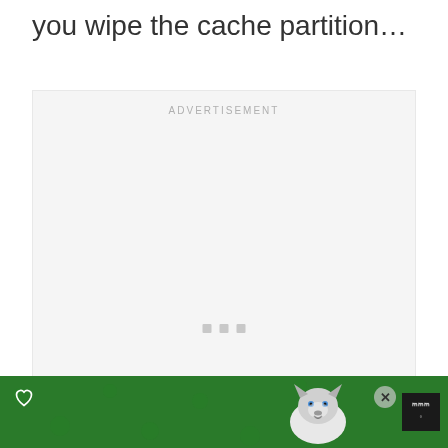you wipe the cache partition…
[Figure (other): Advertisement placeholder box with 'ADVERTISEMENT' label and three small loading dots]
[Figure (other): Bottom banner ad with dark background, green section reading LET'S BE FRIENDS with husky dog image, heart icon, close button, and logo]